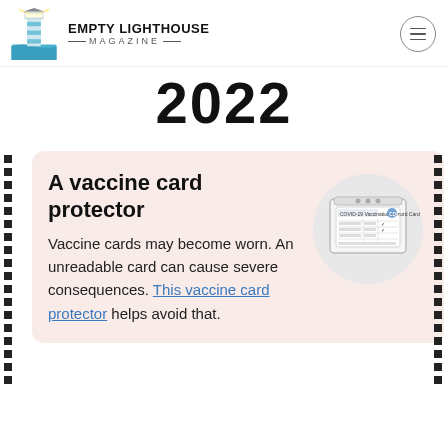EMPTY LIGHTHOUSE MAGAZINE
2022
A vaccine card protector
Vaccine cards may become worn. An unreadable card can cause severe consequences. This vaccine card protector helps avoid that.
[Figure (illustration): Illustration of a CDC COVID-19 vaccination record card inside a card protector holder, shown in a circular frame]